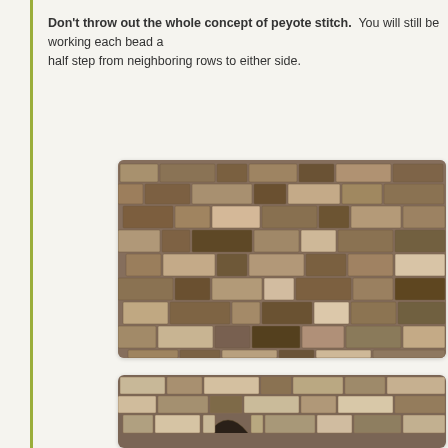Don't throw out the whole concept of peyote stitch. You will still be working each bead a half step from neighboring rows to either side.
[Figure (photo): Close-up photograph of a stone wall showing irregular stacked stones in earthy brown and grey tones, resembling a peyote stitch pattern]
[Figure (photo): Photograph of a stone wall with an arched opening at the bottom, showing irregular stacked stones in earthy tones]